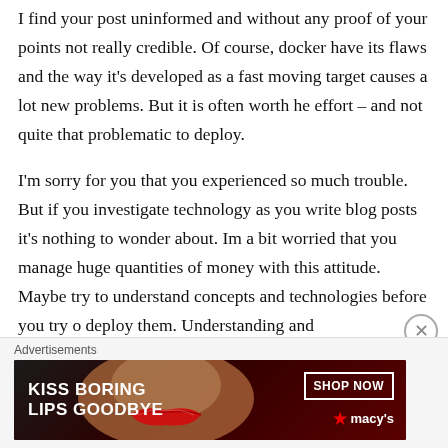I find your post uninformed and without any proof of your points not really credible. Of course, docker have its flaws and the way it's developed as a fast moving target causes a lot new problems. But it is often worth he effort – and not quite that problematic to deploy.
I'm sorry for you that you experienced so much trouble. But if you investigate technology as you write blog posts it's nothing to wonder about. Im a bit worried that you manage huge quantities of money with this attitude. Maybe try to understand concepts and technologies before you try o deploy them. Understanding and
Advertisements
[Figure (advertisement): Macy's lipstick advertisement: 'KISS BORING LIPS GOODBYE' with SHOP NOW button and Macy's logo, showing a woman's face with red lips on a dark background.]